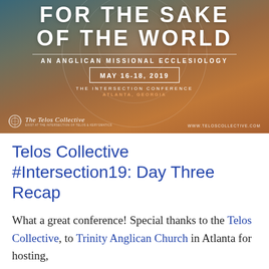[Figure (illustration): Conference banner for The Intersection Conference, May 16-18, 2019, Atlanta Georgia. Shows 'For the Sake of the World - An Anglican Missional Ecclesiology' with The Telos Collective logo and www.teloscollective.com URL. Background is a circular/fisheye cityscape photo.]
Telos Collective #Intersection19: Day Three Recap
What a great conference! Special thanks to the Telos Collective, to Trinity Anglican Church in Atlanta for hosting,